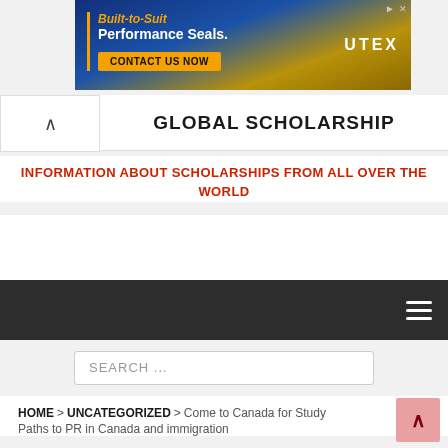[Figure (other): Advertisement banner for UTEX Built-to-Suit Performance Seals with a Contact Us Now button, on a blue and gold background.]
GLOBAL SCHOLARSHIP
INFORMATION ABOUT SCHOLARSHIPS FROM ALL OVER THE WORLD
[Figure (other): Dark navigation bar with a hamburger menu icon on the right.]
SEARCH ...
HOME > UNCATEGORIZED > Come to Canada for Study Paths to PR in Canada and immigration